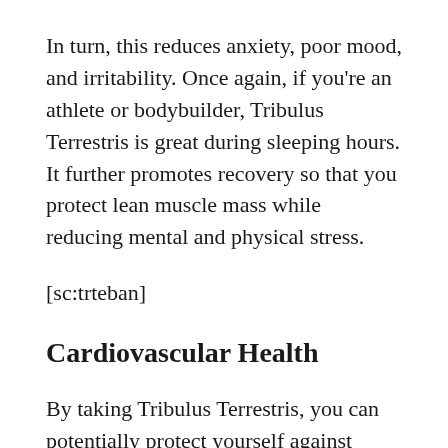In turn, this reduces anxiety, poor mood, and irritability. Once again, if you're an athlete or bodybuilder, Tribulus Terrestris is great during sleeping hours. It further promotes recovery so that you protect lean muscle mass while reducing mental and physical stress.
[sc:trteban]
Cardiovascular Health
By taking Tribulus Terrestris, you can potentially protect yourself against cardiovascular disease. This is especially true when stacked with Rhodiola, as it helps balance cardiac functions and becomes more cardioprotective. Also, when